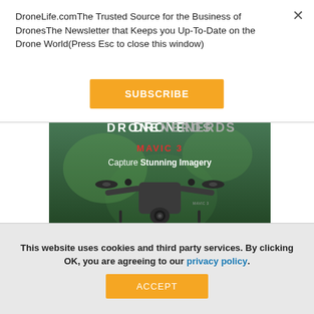DroneLife.comThe Trusted Source for the Business of DronesThe Newsletter that Keeps you Up-To-Date on the Drone World(Press Esc to close this window)
SUBSCRIBE
[Figure (photo): DronNerds advertisement featuring DJI Mavic 3 drone with text 'DRONE NERDS MAVIC 3 Capture Stunning Imagery' on green background]
This website uses cookies and third party services. By clicking OK, you are agreeing to our privacy policy.
ACCEPT